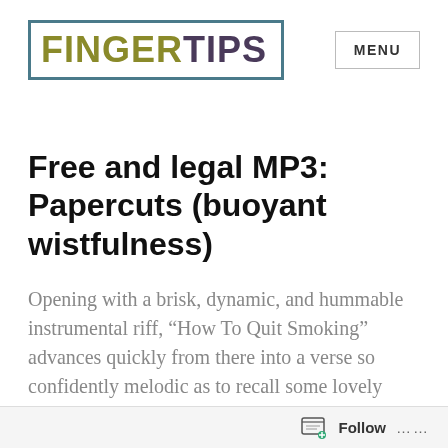[Figure (logo): FingerTips blog logo: 'FINGER' in olive/yellow bold sans-serif and 'TIPS' in dark purple bold sans-serif, enclosed in a teal rectangular border]
MENU
Free and legal MP3: Papercuts (buoyant wistfulness)
Opening with a brisk, dynamic, and hummable instrumental riff, “How To Quit Smoking” advances quickly from there into a verse so confidently melodic as to recall some lovely
Follow …